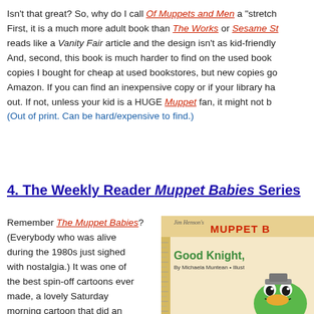Isn't that great? So, why do I call Of Muppets and Men a "stretch ..." First, it is a much more adult book than The Works or Sesame St... reads like a Vanity Fair article and the design isn't as kid-friendly... And, second, this book is much harder to find on the used book ... copies I bought for cheap at used bookstores, but new copies go... Amazon. If you can find an inexpensive copy or if your library ha... out. If not, unless your kid is a HUGE Muppet fan, it might not b... (Out of print. Can be hard/expensive to find.)
4. The Weekly Reader Muppet Babies Series
Remember The Muppet Babies? (Everybody who was alive during the 1980s just sighed with nostalgia.) It was one of the best spin-off cartoons ever made, a lovely Saturday morning cartoon that did an excellent job of translating the appeal of the Muppets into a...
[Figure (photo): Book cover of a Muppet Babies Weekly Reader book titled 'Good Knight,' by Michaela Muntean, illustrated by someone, featuring Kermit the Frog as a knight character. The cover has a tan/cream background with a ruler strip on the left side.]